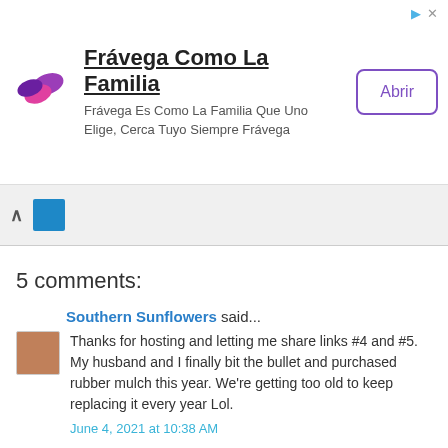[Figure (other): Advertisement banner for Frávega Como La Familia with logo, text, and Abrir button]
5 comments:
Southern Sunflowers said...
Thanks for hosting and letting me share links #4 and #5. My husband and I finally bit the bullet and purchased rubber mulch this year. We're getting too old to keep replacing it every year Lol.
June 4, 2021 at 10:38 AM
Debbie-Dabble Blog and A Debbie-Dabble Christmas said...
Your landscaping looks great!! We replace the mulch every year in our flower beds....